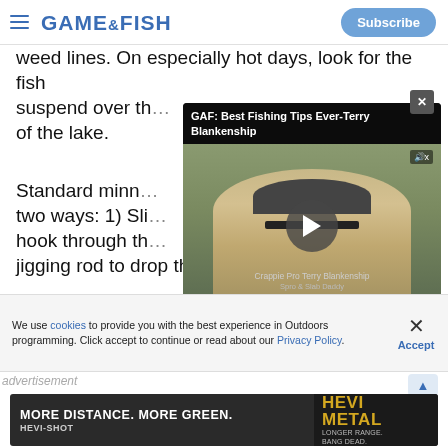GAME&FISH | Subscribe
weed lines. On especially hot days, look for the fish suspend over th... of the lake.
[Figure (screenshot): Video player showing 'GAF: Best Fishing Tips Ever-Terry Blankenship' with a man in sunglasses and a cap, video controls showing 00:00:00 / 07:24:47]
Standard minno... two ways: 1) Sli... hook through th... jigging rod to drop the minnow straight down
We use cookies to provide you with the best experience in Outdoors programming. Click accept to continue or read about our Privacy Policy.
Advertisement
[Figure (photo): Advertisement banner for HEVI-METAL by HEVI-SHOT: MORE DISTANCE. MORE GREEN. LONGER RANGE. BANG DEAD.]